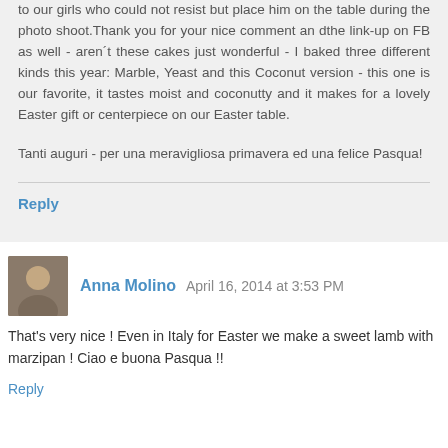to our girls who could not resist but place him on the table during the photo shoot.Thank you for your nice comment an dthe link-up on FB as well - aren´t these cakes just wonderful - I baked three different kinds this year: Marble, Yeast and this Coconut version - this one is our favorite, it tastes moist and coconutty and it makes for a lovely Easter gift or centerpiece on our Easter table.
Tanti auguri - per una meravigliosa primavera ed una felice Pasqua!
Reply
Anna Molino  April 16, 2014 at 3:53 PM
That's very nice ! Even in Italy for Easter we make a sweet lamb with marzipan ! Ciao e buona Pasqua !!
Reply